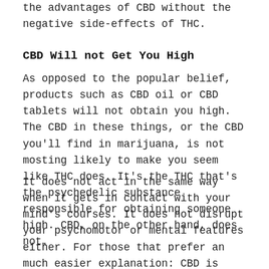the advantages of CBD without the negative side-effects of THC.
CBD Will not Get You High
As opposed to the popular belief, products such as CBD oil or CBD tablets will not obtain you high. The CBD in these things, or the CBD you'll find in marijuana, is not mosting likely to make you seem like THC does. It's the THC that's the psychedelic substance responsible for obtaining someone high. CBD, on the other hand, does not.
It does not act in the same way when it gets in contact with your mind's courses. It does not disrupt your psychomotor or mental features either. For those that prefer an much easier explanation: CBD is 100% secure and will certainly not get you high! It will not also reveal up on medication tests.